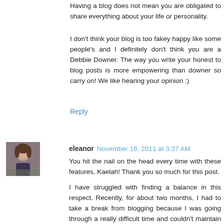Having a blog does not mean you are obligated to share everything about your life or personality.
I don't think your blog is too fakey happy like some people's and I definitely don't think you are a Debbie Downer. The way you write your honest to blog posts is more empowering than downer so carry on! We like hearing your opinion :)
Reply
eleanor  November 16, 2011 at 3:37 AM
You hit the nail on the head every time with these features, Kaelah! Thank you so much for this post.
I have struggled with finding a balance in this respect. Recently, for about two months, I had to take a break from blogging because I was going through a really difficult time and couldn't maintain a truthful depiction of my life on the blog without airing all the crap I was experiencing. It didn't feel right talking about shoes and cute dresses when I wanted to inappropriately vent about personal issues!